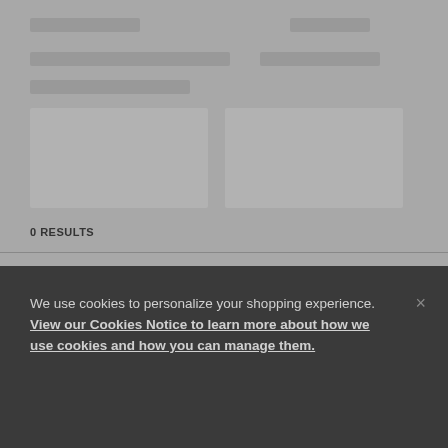[Figure (screenshot): Greyed-out blurred webpage background showing product cards and navigation elements]
0 RESULTS
Sorry, we couldn't find any results for "null"
SEARCH TIPS
We use cookies to personalize your shopping experience. View our Cookies Notice to learn more about how we use cookies and how you can manage them.